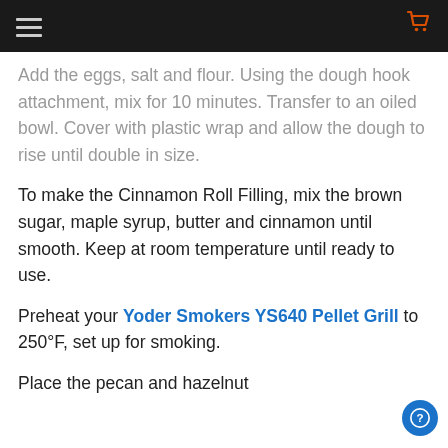Add the eggs, salt and flour. Using the dough hook attachment, mix for 10 minutes. Transfer to an oiled bowl. Cover with plastic wrap and allow the dough to rise until double in size.
To make the Cinnamon Roll Filling, mix the brown sugar, maple syrup, butter and cinnamon until smooth. Keep at room temperature until ready to use.
Preheat your Yoder Smokers YS640 Pellet Grill to 250°F, set up for smoking.
Place the pecan and hazelnut